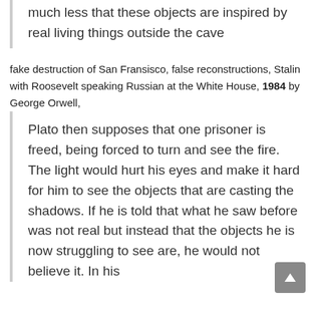much less that these objects are inspired by real living things outside the cave
fake destruction of San Fransisco, false reconstructions, Stalin with Roosevelt speaking Russian at the White House, 1984 by George Orwell,
Plato then supposes that one prisoner is freed, being forced to turn and see the fire. The light would hurt his eyes and make it hard for him to see the objects that are casting the shadows. If he is told that what he saw before was not real but instead that the objects he is now struggling to see are, he would not believe it. In his